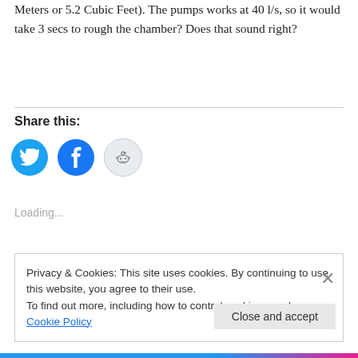Meters or 5.2 Cubic Feet). The pumps works at 40 l/s, so it would take 3 secs to rough the chamber? Does that sound right?
Share this:
[Figure (illustration): Three social media share buttons: Twitter (blue bird icon), Facebook (blue f icon), Reddit (light grey alien icon)]
Loading...
Privacy & Cookies: This site uses cookies. By continuing to use this website, you agree to their use.
To find out more, including how to control cookies, see here: Cookie Policy